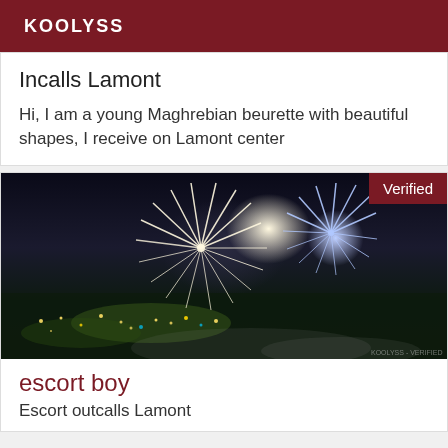KOOLYSS
Incalls Lamont
Hi, I am a young Maghrebian beurette with beautiful shapes, I receive on Lamont center
[Figure (photo): Fireworks over a city at night with colorful light trails. A 'Verified' badge appears in the top right corner.]
escort boy
Escort outcalls Lamont